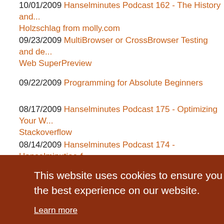10/02/2009 Hanselminutes Podcast 162 - The History and... Holzschlag from molly.com
09/23/2009 MultiBrowser or CrossBrowser Testing and de... Web SuperPreview
09/22/2009 Programming for Absolute Beginners
08/17/2009 Hanselminutes Podcast 175 - Optimizing Your W... Stackoverflow
08/14/2009 Hanselminutes Podcast 174 - Hanselminutiae-f...
07/31/2009 Hanselminutes on 9 - ASP.NET MVC 2 Preview...
This website uses cookies to ensure you get the best experience on our website. Learn more
05/05/2009 ELMAH and Exception-Driven Development...